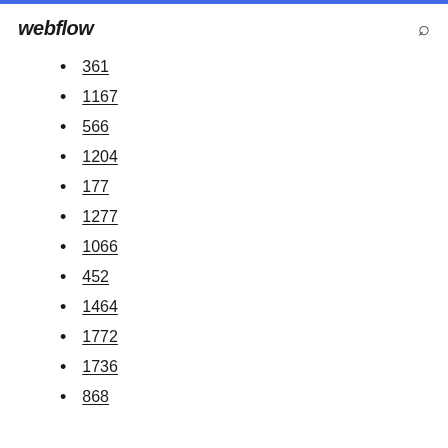webflow
361
1167
566
1204
177
1277
1066
452
1464
1772
1736
868